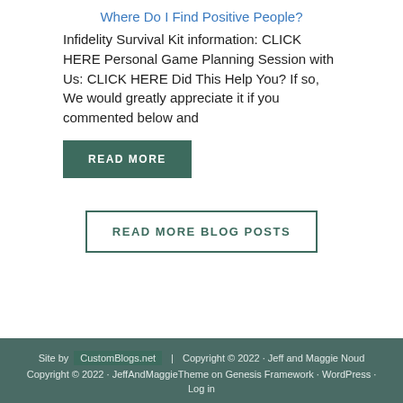Where Do I Find Positive People?
Infidelity Survival Kit information: CLICK HERE Personal Game Planning Session with Us: CLICK HERE Did This Help You? If so, We would greatly appreciate it if you commented below and
READ MORE
READ MORE BLOG POSTS
Site by CustomBlogs.net | Copyright © 2022 · Jeff and Maggie Noud Copyright © 2022 · JeffAndMaggieTheme on Genesis Framework · WordPress · Log in